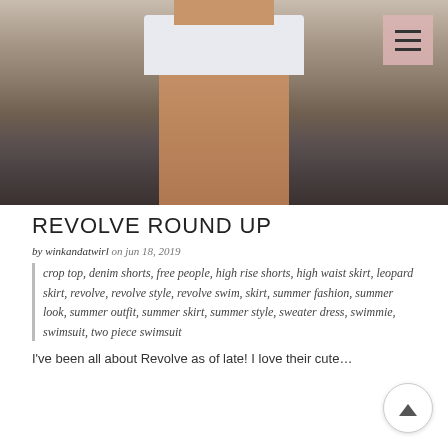[Figure (photo): Fashion blog photo showing a woman from mid-torso down wearing white denim shorts and white sneakers, standing outdoors near a white table, holding a wine glass.]
REVOLVE ROUND UP
by winkandatwirl on jun 18, 2019
crop top, denim shorts, free people, high rise shorts, high waist skirt, leopard skirt, revolve, revolve style, revolve swim, skirt, summer fashion, summer look, summer outfit, summer skirt, summer style, sweater dress, swimmie, swimsuit, two piece swimsuit
I've been all about Revolve as of late! I love their cute…